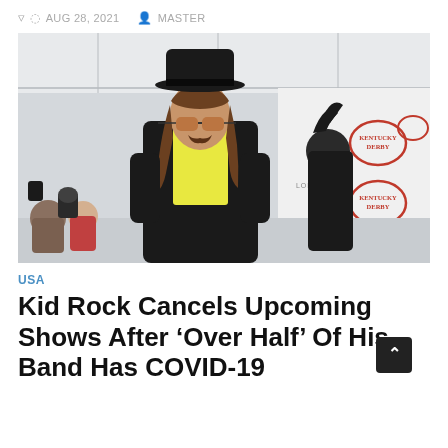AUG 28, 2021   MASTER
[Figure (photo): Man wearing a black fedora hat, amber-tinted aviator sunglasses, and a black leather jacket over a yellow shirt, standing in front of a Kentucky Derby sponsor backdrop. Long hair visible. Another person partially visible on the right.]
USA
Kid Rock Cancels Upcoming Shows After ‘Over Half’ Of His Band Has COVID-19